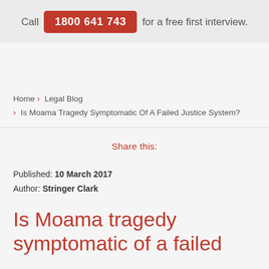Call 1800 641 743 for a free first interview.
Home › Legal Blog › Is Moama Tragedy Symptomatic Of A Failed Justice System?
Share this:
Published: 10 March 2017
Author: Stringer Clark
Is Moama tragedy symptomatic of a failed